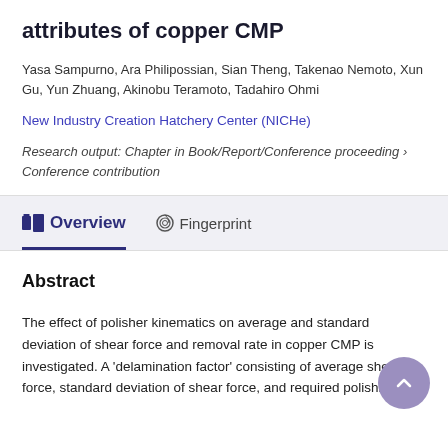attributes of copper CMP
Yasa Sampurno, Ara Philipossian, Sian Theng, Takenao Nemoto, Xun Gu, Yun Zhuang, Akinobu Teramoto, Tadahiro Ohmi
New Industry Creation Hatchery Center (NICHe)
Research output: Chapter in Book/Report/Conference proceeding › Conference contribution
Overview
Fingerprint
Abstract
The effect of polisher kinematics on average and standard deviation of shear force and removal rate in copper CMP is investigated. A 'delamination factor' consisting of average shear force, standard deviation of shear force, and required polishing